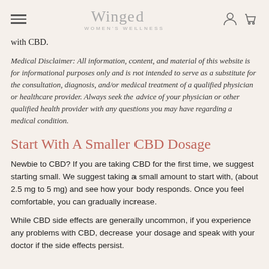Winged WOMEN'S WELLNESS
with CBD.
Medical Disclaimer: All information, content, and material of this website is for informational purposes only and is not intended to serve as a substitute for the consultation, diagnosis, and/or medical treatment of a qualified physician or healthcare provider. Always seek the advice of your physician or other qualified health provider with any questions you may have regarding a medical condition.
Start With A Smaller CBD Dosage
Newbie to CBD? If you are taking CBD for the first time, we suggest starting small. We suggest taking a small amount to start with, (about 2.5 mg to 5 mg) and see how your body responds. Once you feel comfortable, you can gradually increase.
While CBD side effects are generally uncommon, if you experience any problems with CBD, decrease your dosage and speak with your doctor if the side effects persist.